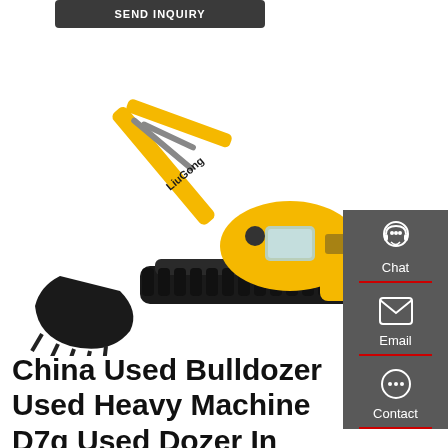[Figure (photo): Yellow LiuGong excavator on white background, showing full machine with raised arm and bucket lowered to ground]
[Figure (infographic): Dark grey side panel with Chat (headset icon), Email (envelope icon), and Contact (speech bubble icon) buttons separated by red dividers]
China Used Bulldozer Used Heavy Machine D7g Used Dozer In